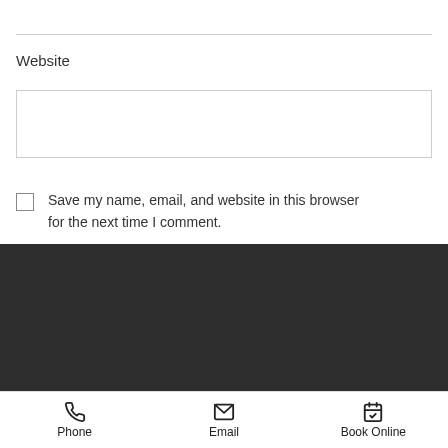Website
Save my name, email, and website in this browser for the next time I comment.
POST COMMENT
Phone
Email
Book Online